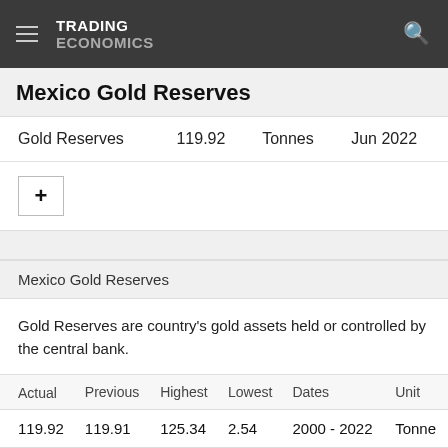TRADING ECONOMICS
Mexico Gold Reserves
|  |  |  |  |
| --- | --- | --- | --- |
| Gold Reserves | 119.92 | Tonnes | Jun 2022 |
Mexico Gold Reserves
Gold Reserves are country's gold assets held or controlled by the central bank.
| Actual | Previous | Highest | Lowest | Dates | Unit |
| --- | --- | --- | --- | --- | --- |
| 119.92 | 119.91 | 125.34 | 2.54 | 2000 - 2022 | Tonne |